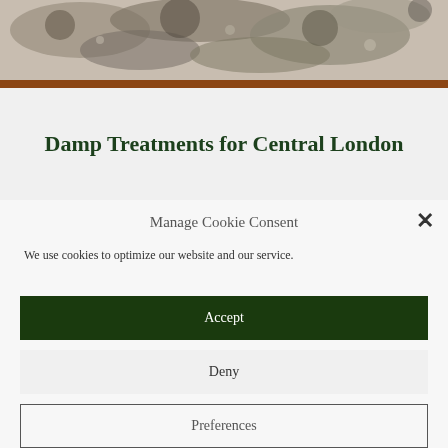[Figure (photo): Close-up photo of a damp, mould-covered stone or plaster wall surface with brown and grey tones]
Damp Treatments for Central London
Manage Cookie Consent
We use cookies to optimize our website and our service.
Accept
Deny
Preferences